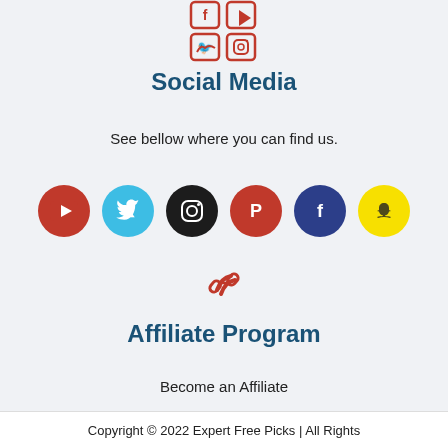[Figure (logo): Social media icons grid (Facebook, YouTube, Twitter, Instagram) in red, shown at top center]
Social Media
See bellow where you can find us.
[Figure (infographic): Row of 6 social media icon circles: YouTube (red), Twitter (blue), Instagram (black), Pinterest (red), Facebook (dark blue), Snapchat (yellow)]
[Figure (illustration): Red chain link icon]
Affiliate Program
Become an Affiliate
Copyright © 2022 Expert Free Picks | All Rights